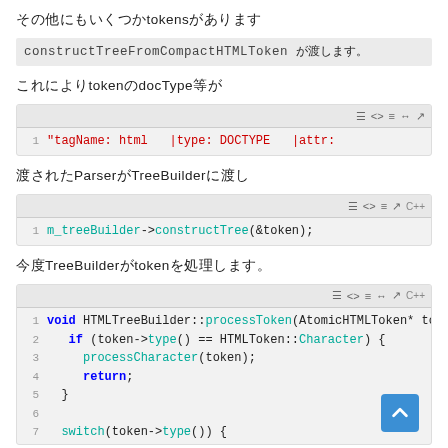その他にもいくつかtokensがあります
constructTreeFromCompactHTMLToken が渡します。
これによりtokenのdocType等が
[Figure (screenshot): Code snippet showing: 1  "tagName: html  |type: DOCTYPE   |attr:   |t]
渡されたParserがTreeBuilderに渡し
[Figure (screenshot): C++ code snippet: 1  m_treeBuilder->constructTree(&token);]
今度TreeBuilderがtokenを処理します。
[Figure (screenshot): C++ code: void HTMLTreeBuilder::processToken(AtomicHTMLToken* tok
  if (token->type() == HTMLToken::Character) {
    processCharacter(token);
    return;
  }
  (switch truncated)]